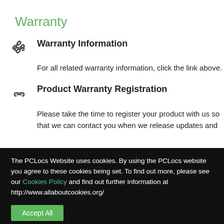Warranty
Warranty Information
For all related warranty information, click the link above.
Product Warranty Registration
Please take the time to register your product with us so that we can contact you when we release updates and
The PCLocs Website uses cookies. By using the PCLocs website you agree to these cookies being set. To find out more, please see our Cookies Policy and find out further information at http://www.allaboutcookies.org/
Accept All